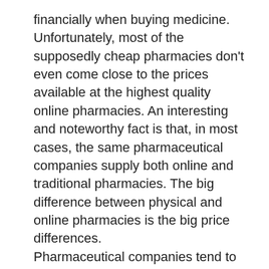financially when buying medicine. Unfortunately, most of the supposedly cheap pharmacies don't even come close to the prices available at the highest quality online pharmacies. An interesting and noteworthy fact is that, in most cases, the same pharmaceutical companies supply both online and traditional pharmacies. The big difference between physical and online pharmacies is the big price differences.
Pharmaceutical companies tend to charge much more for drugs in the United States than in other countries, which is quite unfair to the consumer; However, the beauty of online pharmacies is that they charge a lot less for drugs because they basically have to. They are marketing to a global market and therefore need acceptable prices for all countries with access to the online pharmacy. Many https://service-pharmaceutique.com/ online pharmacies are based in Canada for the simple reason that they can carry the same drugs from the same pharmaceutical